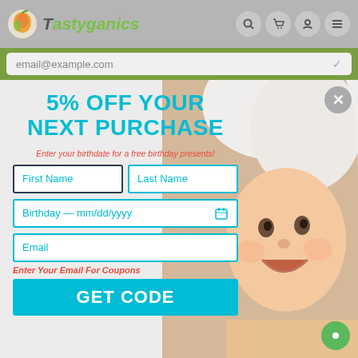[Figure (screenshot): Tastyganics website navigation bar with logo and icons for search, cart, user, and menu]
email@example.com
[Figure (photo): Smiling baby with white hooded towel forming the right background of the popup]
5% OFF YOUR NEXT PURCHASE
Enter your birthdate for a free birthday presents!
First Name
Last Name
Birthday — mm/dd/yyyy
Email
Enter Your Email For Coupons
GET CODE